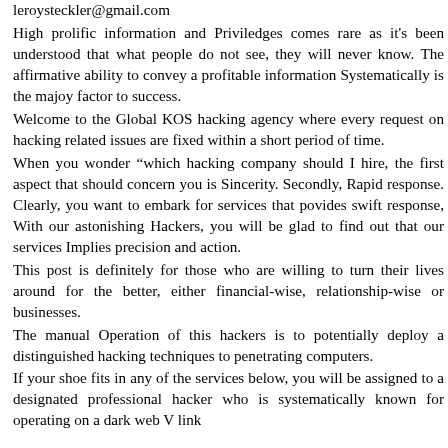leroysteckler@gmail.com
High prolific information and Priviledges comes rare as it's been understood that what people do not see, they will never know. The affirmative ability to convey a profitable information Systematically is the majoy factor to success.
Welcome to the Global KOS hacking agency where every request on hacking related issues are fixed within a short period of time.
When you wonder “which hacking company should I hire, the first aspect that should concern you is Sincerity. Secondly, Rapid response. Clearly, you want to embark for services that povides swift response, With our astonishing Hackers, you will be glad to find out that our services Implies precision and action.
This post is definitely for those who are willing to turn their lives around for the better, either financial-wise, relationship-wise or businesses.
The manual Operation of this hackers is to potentially deploy a distinguished hacking techniques to penetrating computers.
If your shoe fits in any of the services below, you will be assigned to a designated professional hacker who is systematically known for operating on a dark web V link